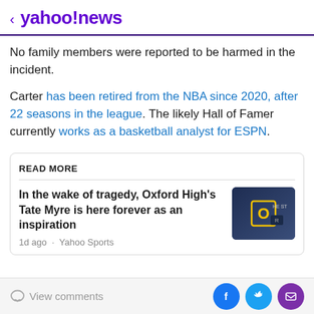< yahoo!news
No family members were reported to be harmed in the incident.
Carter has been retired from the NBA since 2020, after 22 seasons in the league. The likely Hall of Famer currently works as a basketball analyst for ESPN.
READ MORE
In the wake of tragedy, Oxford High's Tate Myre is here forever as an inspiration
1d ago · Yahoo Sports
View comments